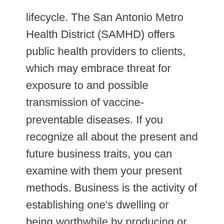lifecycle. The San Antonio Metro Health District (SAMHD) offers public health providers to clients, which may embrace threat for exposure to and possible transmission of vaccine-preventable diseases. If you recognize all about the present and future business traits, you can examine with them your present methods. Business is the activity of establishing one's dwelling or being worthwhile by producing or purchasing for and promoting items or providers.
Tech• is essential two-day rivals of digital commerce and the experience driving it. Though viewers evaluation analysis pre-date digital media, the Internet permits sampling of not solely a restricted viewers nonetheless your